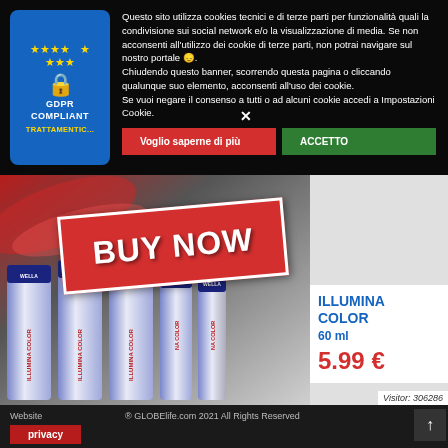[Figure (screenshot): GDPR Compliant badge with EU stars and lock icon, blue background]
Questo sito utilizza cookies tecnici e di terze parti per funzionalità quali la condivisione sui social network e/o la visualizzazione di media. Se non acconsenti all'utilizzo dei cookie di terze parti, non potrai navigare sul nostro portale 😞. Chiudendo questo banner, scorrendo questa pagina o cliccando qualunque suo elemento, acconsenti all'uso dei cookie. Se vuoi negare il consenso a tutti o ad alcuni cookie accedi a Impostazioni Cookie.
Voglio saperne di più
ACCETTO
[Figure (photo): Multiple Wella Illumina Color 60ml hair dye tubes with BUY NOW red ribbon overlay]
ILLUMINA COLOR 60 ml
5.99 €
Visitor: 306286
Website GLOBElife  © GLOBElife.com 2021 All Rights Reserved
privacy